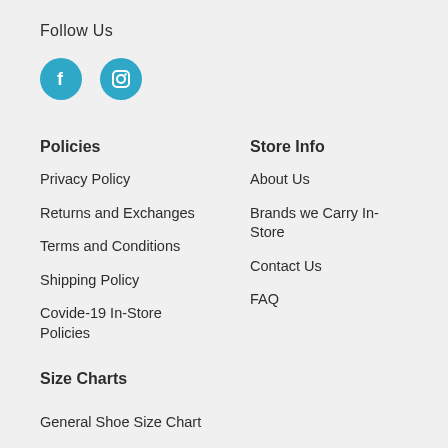Follow Us
[Figure (illustration): Two circular teal social media icons: Facebook (f logo) and Instagram (camera logo)]
Policies
Privacy Policy
Returns and Exchanges
Terms and Conditions
Shipping Policy
Covide-19 In-Store Policies
Store Info
About Us
Brands we Carry In-Store
Contact Us
FAQ
Size Charts
General Shoe Size Chart